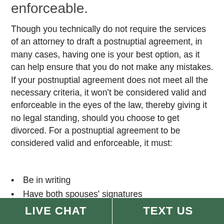enforceable.
Though you technically do not require the services of an attorney to draft a postnuptial agreement, in many cases, having one is your best option, as it can help ensure that you do not make any mistakes. If your postnuptial agreement does not meet all the necessary criteria, it won’t be considered valid and enforceable in the eyes of the law, thereby giving it no legal standing, should you choose to get divorced. For a postnuptial agreement to be considered valid and enforceable, it must:
Be in writing
Have both spouses’ signatures
Be transparent and fair to both parties
Be notarized
Include full disclosure of all assets
LIVE CHAT | TEXT US